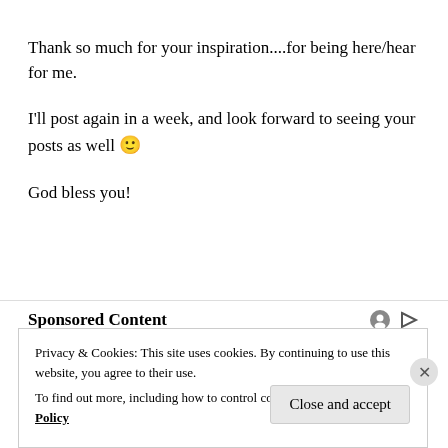Thank so much for your inspiration....for being here/hear for me.
I'll post again in a week, and look forward to seeing your posts as well 🙂
God bless you!
Sponsored Content
Privacy & Cookies: This site uses cookies. By continuing to use this website, you agree to their use.
To find out more, including how to control cookies, see here: Cookie Policy
Close and accept